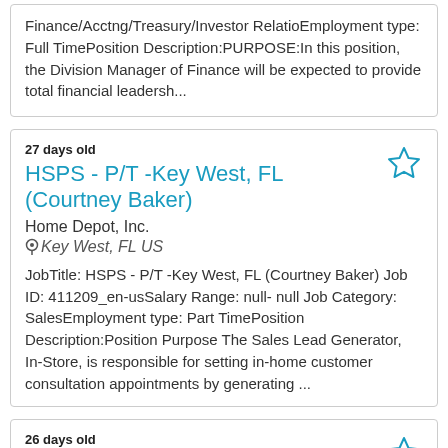Finance/Acctng/Treasury/Investor RelatioEmployment type: Full TimePosition Description:PURPOSE:In this position, the Division Manager of Finance will be expected to provide total financial leadersh...
27 days old
HSPS - P/T -Key West, FL (Courtney Baker)
Home Depot, Inc.
Key West, FL US
JobTitle: HSPS - P/T -Key West, FL (Courtney Baker) Job ID: 411209_en-usSalary Range: null- null Job Category: SalesEmployment type: Part TimePosition Description:Position Purpose The Sales Lead Generator, In-Store, is responsible for setting in-home customer consultation appointments by generating ...
26 days old
HR Analyst, Stock Administration